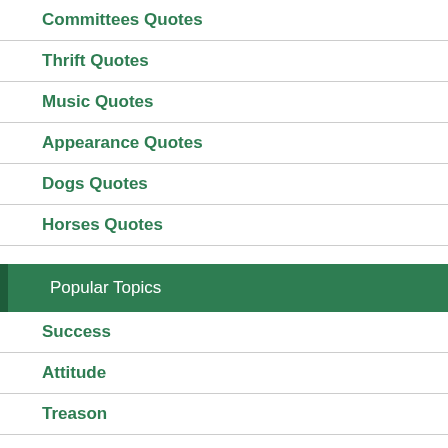Committees Quotes
Thrift Quotes
Music Quotes
Appearance Quotes
Dogs Quotes
Horses Quotes
Popular Topics
Success
Attitude
Treason
Thanks